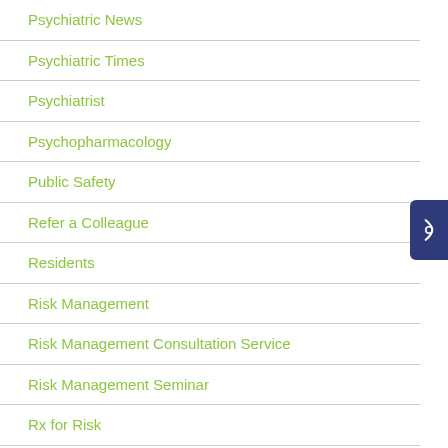Psychiatric News
Psychiatric Times
Psychiatrist
Psychopharmacology
Public Safety
Refer a Colleague
Residents
Risk Management
Risk Management Consultation Service
Risk Management Seminar
Rx for Risk
SAMHIN